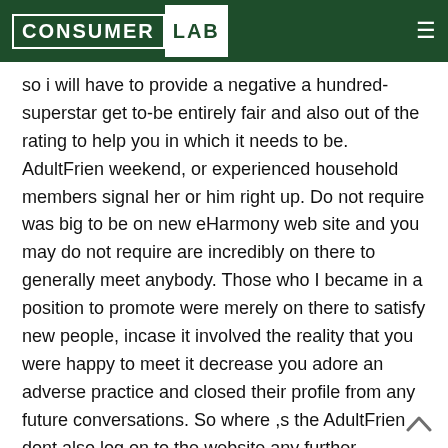Consumer Lab
so i will have to provide a negative a hundred-superstar get to-be entirely fair and also out of the rating to help you in which it needs to be. AdultFrien weekend, or experienced household members signal her or him right up. Do not require was big to be on new eHarmony web site and you may do not require are incredibly on there to generally meet anybody. Those who I became in a position to promote were merely on there to satisfy new people, incase it involved the reality that you were happy to meet it decrease you adore an adverse practice and closed their profile from any future conversations. So where ,s the AdultFrien dont also log on to the website any further. Otherwise they were delivering me personally users of individuals who resided 7 hours aside when i it really is lay that we wanted to possess matches